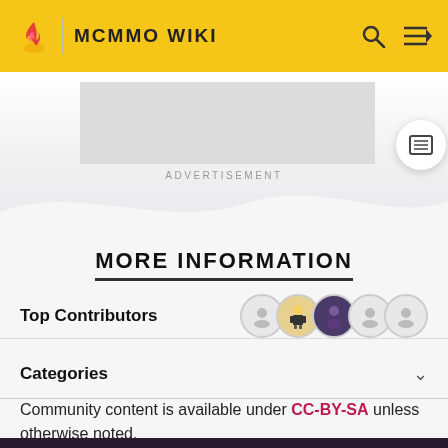MCMMO WIKI
[Figure (screenshot): Advertisement placeholder box]
MORE INFORMATION
Top Contributors
Categories
Community content is available under CC-BY-SA unless otherwise noted.